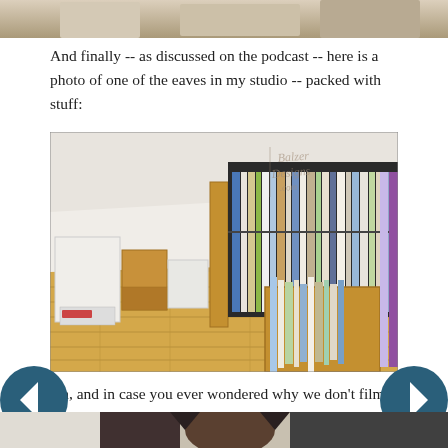[Figure (photo): Partial top edge of a photo visible at top of page]
And finally -- as discussed on the podcast -- here is a photo of one of the eaves in my studio -- packed with stuff:
[Figure (photo): Interior photo of a studio storage area under the eaves, showing boxes, shelves packed with binders, folders, papers, and cardboard boxes on a wood floor. A watermark reads 'Balzer Designs .com']
Oh, and in case you ever wondered why we don't film the podcasts, I'm usually in my pajamas looking like this:
[Figure (other): Left navigation arrow button (dark teal circle with white left-pointing arrow)]
[Figure (other): Right navigation arrow button (dark teal circle with white right-pointing arrow)]
[Figure (photo): Partial bottom strip showing beginning of another photo]